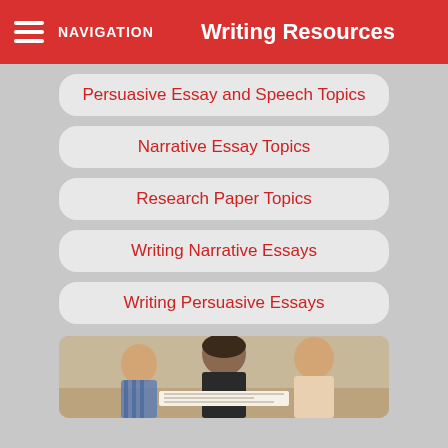Writing Resources NAVIGATION
Persuasive Essay and Speech Topics
Narrative Essay Topics
Research Paper Topics
Writing Narrative Essays
Writing Persuasive Essays
[Figure (photo): Students sitting at a table in a classroom, studying or writing together]